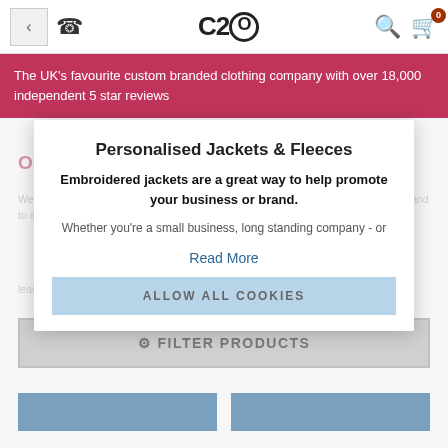C2O — navigation bar with back arrow, phone icon, logo, search, cart (0)
The UK's favourite custom branded clothing company with over 18,000 independent 5 star reviews
Personalised Jackets & Fleeces
Embroidered jackets are a great way to help promote your business or brand.
Whether you're a small business, long standing company - or
Read More
ALLOW ALL COOKIES
⚙ FILTER PRODUCTS